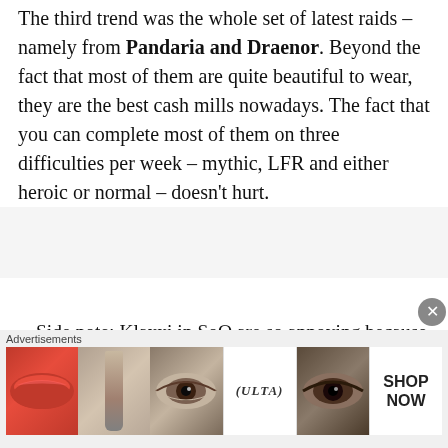The third trend was the whole set of latest raids – namely from Pandaria and Draenor. Beyond the fact that most of them are quite beautiful to wear, they are the best cash mills nowadays. The fact that you can complete most of them on three difficulties per week – mythic, LFR and either heroic or normal – doesn't hurt.
Side note: Klaxxi in SoO are so annoying because bugged (pun intended). It's a lottery whether the encounter starts OK, with 3 paragons joining the fight, or whether one of
[Figure (photo): Advertisement banner showing makeup-themed images including lips, brush, eye, ULTA beauty logo, eye closeup, and SHOP NOW button]